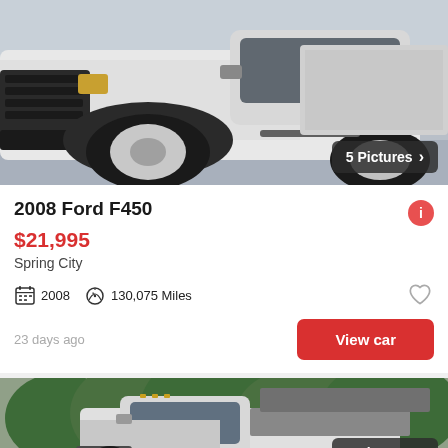[Figure (photo): 2008 Ford F450 white truck photo from front-side angle in garage, showing large black grille and wheel well]
5 Pictures
2008 Ford F450
$21,995
Spring City
2008   130,075 Miles
23 days ago
View car
[Figure (photo): Second truck listing photo showing a white flatbed/dump truck from front-side angle outdoors with trees in background]
5 Pictures